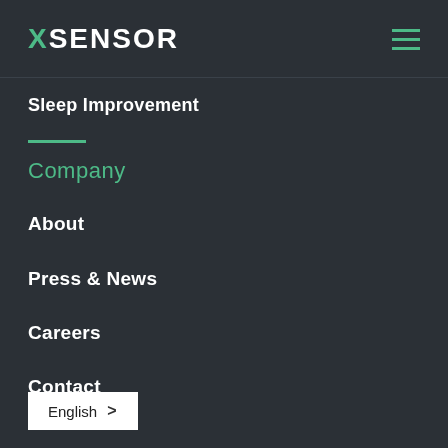XSENSOR
Sleep Improvement
Company
About
Press & News
Careers
Contact
English >